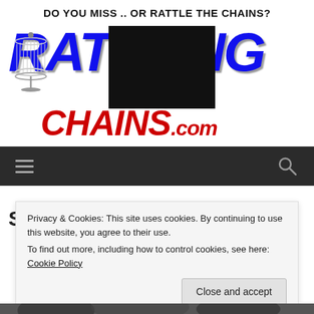DO YOU MISS .. OR RATTLE THE CHAINS?
[Figure (logo): RattlingChains.com logo with blue brush-style RATTLING text and red CHAINS.com text, disc golf basket icon, partially censored with black rectangle]
Navigation bar with hamburger menu and search icon
Privacy & Cookies: This site uses cookies. By continuing to use this website, you agree to their use.
To find out more, including how to control cookies, see here: Cookie Policy
Close and accept